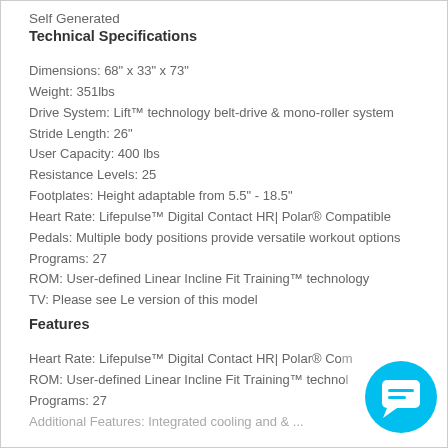Self Generated
Technical Specifications
Dimensions: 68" x 33" x 73"
Weight: 351lbs
Drive System: Lift™ technology belt-drive & mono-roller system
Stride Length: 26"
User Capacity: 400 lbs
Resistance Levels: 25
Footplates: Height adaptable from 5.5" - 18.5"
Heart Rate: Lifepulse™ Digital Contact HR| Polar® Compatible
Pedals: Multiple body positions provide versatile workout options
Programs: 27
ROM: User-defined Linear Incline Fit Training™ technology
TV: Please see Le version of this model
Features
Heart Rate: Lifepulse™ Digital Contact HR| Polar® Compatible
ROM: User-defined Linear Incline Fit Training™ technology
Programs: 27
Additional Features: Integrated cooling and...